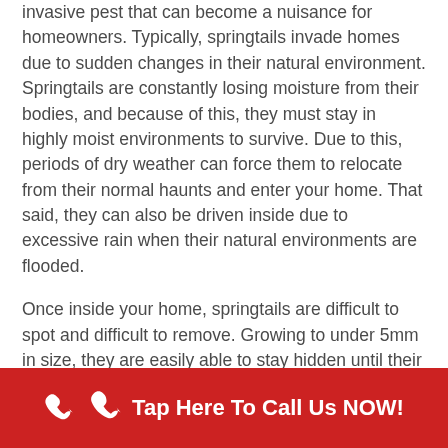invasive pest that can become a nuisance for homeowners. Typically, springtails invade homes due to sudden changes in their natural environment. Springtails are constantly losing moisture from their bodies, and because of this, they must stay in highly moist environments to survive. Due to this, periods of dry weather can force them to relocate from their normal haunts and enter your home. That said, they can also be driven inside due to excessive rain when their natural environments are flooded.
Once inside your home, springtails are difficult to spot and difficult to remove. Growing to under 5mm in size, they are easily able to stay hidden until their population has grown substantially. Typically, homeowners first spot springtails when they leap around in carpets or on furniture. Since this behavior is so similar to fleas, it is easy to mistake them.
Tap Here To Call Us NOW!